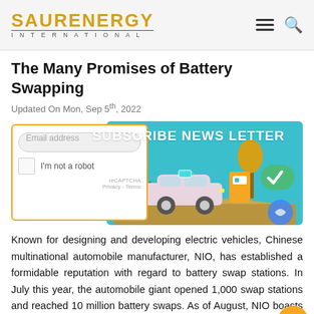SAUR ENERGY INTERNATIONAL
The Many Promises of Battery Swapping
Updated On Mon, Sep 5th, 2022
[Figure (illustration): Newsletter subscription overlay with email input and reCAPTCHA, overlapping an illustration of an electric vehicle at a battery swap station on a teal/cyan background with trees and a green checkmark icon.]
Known for designing and developing electric vehicles, Chinese multinational automobile manufacturer, NIO, has established a formidable reputation with regard to battery swap stations. In July this year, the automobile giant opened 1,000 swap stations and reached 10 million battery swaps. As of August, NIO boasts of 1071 swap stations in China, however, it has no [...]